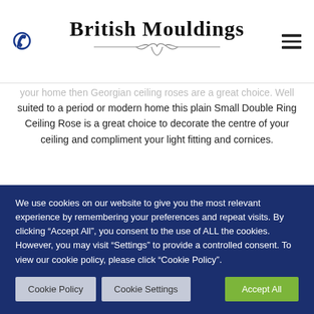British Mouldings
suited to a period or modern home this plain Small Double Ring Ceiling Rose is a great choice to decorate the centre of your ceiling and compliment your light fitting and cornices.
The Small Double Ring Ceiling Rose has an approximate thickness of 35mm and has a centre suitable for a fitting up to 140mm in diameter.
We use cookies on our website to give you the most relevant experience by remembering your preferences and repeat visits. By clicking “Accept All”, you consent to the use of ALL the cookies. However, you may visit “Settings” to provide a controlled consent. To view our cookie policy, please click “Cookie Policy”.
Cookie Policy
Cookie Settings
Accept All